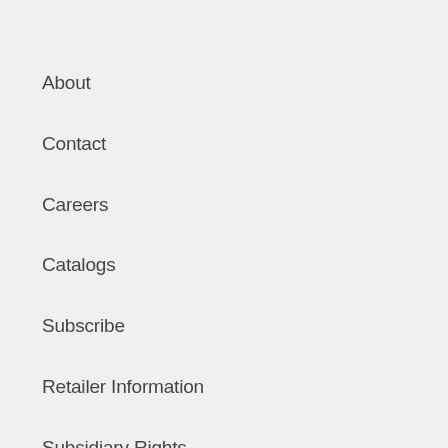About
Contact
Careers
Catalogs
Subscribe
Retailer Information
Subsidiary Rights
Copyright T…